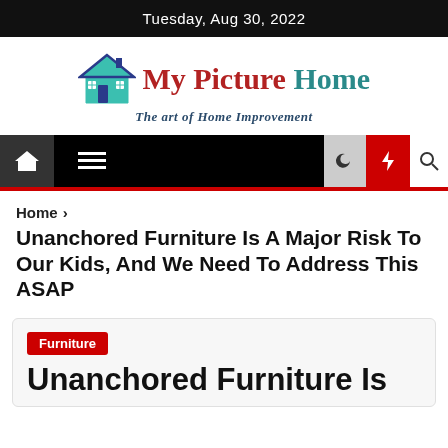Tuesday, Aug 30, 2022
[Figure (logo): My Picture Home logo with house icon and tagline 'The art of Home Improvement']
[Figure (screenshot): Navigation bar with home icon, hamburger menu, dark mode, lightning/trending, and search icons]
Home › Unanchored Furniture Is A Major Risk To Our Kids, And We Need To Address This ASAP
Unanchored Furniture Is A Major Risk To Our Kids, And We Need To Address This ASAP
Furniture
Unanchored Furniture Is